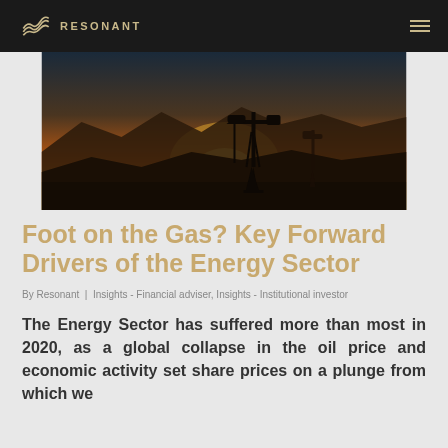RESONANT
[Figure (photo): Oil pump jack silhouetted against a dramatic orange and yellow sunset sky with mountains in the background]
Foot on the Gas? Key Forward Drivers of the Energy Sector
By Resonant | Insights - Financial adviser, Insights - Institutional investor
The Energy Sector has suffered more than most in 2020, as a global collapse in the oil price and economic activity set share prices on a plunge from which we